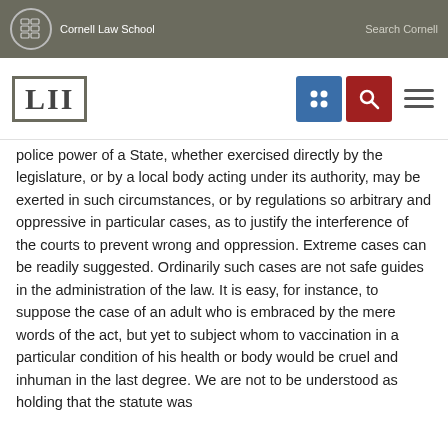Cornell Law School  Search Cornell
[Figure (logo): LII Legal Information Institute logo with navigation buttons (blue grid icon, red search icon, hamburger menu)]
police power of a State, whether exercised directly by the legislature, or by a local body acting under its authority, may be exerted in such circumstances, or by regulations so arbitrary and oppressive in particular cases, as to justify the interference of the courts to prevent wrong and oppression. Extreme cases can be readily suggested. Ordinarily such cases are not safe guides in the administration of the law. It is easy, for instance, to suppose the case of an adult who is embraced by the mere words of the act, but yet to subject whom to vaccination in a particular condition of his health or body would be cruel and inhuman in the last degree. We are not to be understood as holding that the statute was